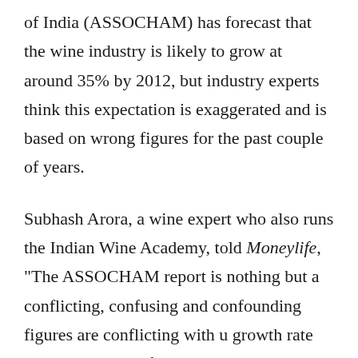of India (ASSOCHAM) has forecast that the wine industry is likely to grow at around 35% by 2012, but industry experts think this expectation is exaggerated and is based on wrong figures for the past couple of years.
Subhash Arora, a wine expert who also runs the Indian Wine Academy, told Moneylife, "The ASSOCHAM report is nothing but a conflicting, confusing and confounding figures are conflicting with u growth rate projection with a for 2008."
[Figure (screenshot): Black video player overlay with close (X) button top-left, a circle icon top-right, a horizontal progress bar in the middle, and a pause (II) button at the bottom-left on a dark bar.]